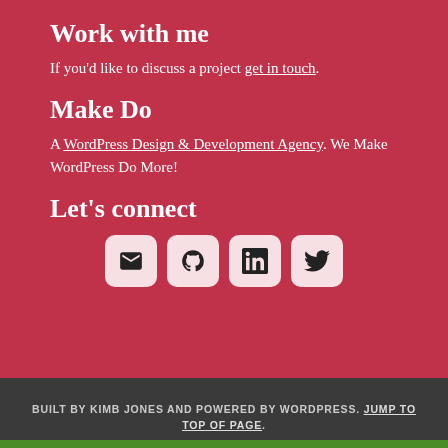Work with me
If you'd like to discuss a project get in touch.
Make Do
A WordPress Design & Development Agency. We Make WordPress Do More!
Let's connect
[Figure (infographic): Row of four social media icon buttons: Email, GitHub, LinkedIn, Twitter]
BUILT BY KIMB JONES AND POWERED BY WORDPRESS. JUMP TO TOP OF PAGE.